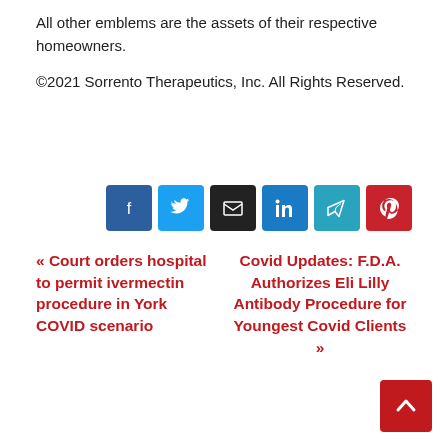All other emblems are the assets of their respective homeowners.
©2021 Sorrento Therapeutics, Inc. All Rights Reserved.
[Figure (infographic): Social share buttons: Facebook, Twitter, Email, LinkedIn, Telegram, Pinterest]
« Court orders hospital to permit ivermectin procedure in York COVID scenario
Covid Updates: F.D.A. Authorizes Eli Lilly Antibody Procedure for Youngest Covid Clients »